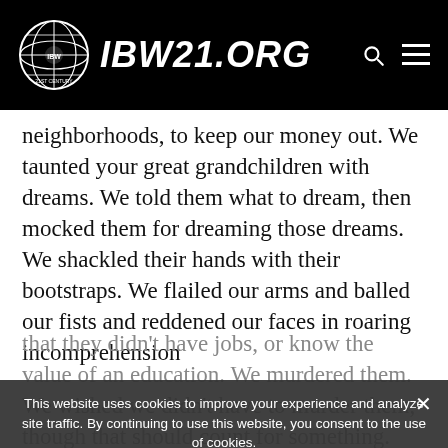IBW21.ORG
neighborhoods, to keep our money out. We taunted your great grandchildren with dreams. We told them what to dream, then mocked them for dreaming those dreams. We shackled their hands with their bootstraps. We flailed our arms and balled our fists and reddened our faces in roaring incomprehension
that they didn't have jobs, or know the value of an education. We murdered them. We wished we didn't have to murder them, though that should count for something.
This website uses cookies to improve your experience and analyze site traffic. By continuing to use this website, you consent to the use of cookies.
Ok